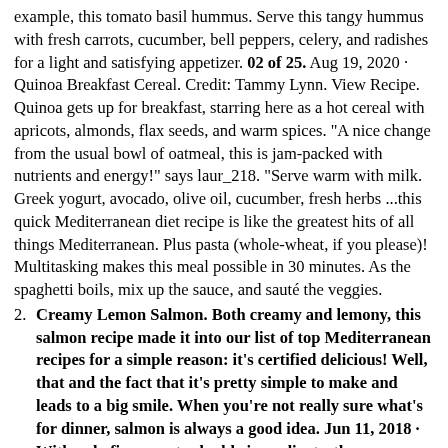example, this tomato basil hummus. Serve this tangy hummus with fresh carrots, cucumber, bell peppers, celery, and radishes for a light and satisfying appetizer. 02 of 25. Aug 19, 2020 · Quinoa Breakfast Cereal. Credit: Tammy Lynn. View Recipe. Quinoa gets up for breakfast, starring here as a hot cereal with apricots, almonds, flax seeds, and warm spices. "A nice change from the usual bowl of oatmeal, this is jam-packed with nutrients and energy!" says laur_218. "Serve warm with milk. Greek yogurt, avocado, olive oil, cucumber, fresh herbs ...this quick Mediterranean diet recipe is like the greatest hits of all things Mediterranean. Plus pasta (whole-wheat, if you please)! Multitasking makes this meal possible in 30 minutes. As the spaghetti boils, mix up the sauce, and sauté the veggies.
2. Creamy Lemon Salmon. Both creamy and lemony, this salmon recipe made it into our list of top Mediterranean recipes for a simple reason: it's certified delicious! Well, that and the fact that it's pretty simple to make and leads to a big smile. When you're not really sure what's for dinner, salmon is always a good idea. Jun 11, 2018 · With only five easy-to-double ingredients, these mouthwatering kabobs are one of our favorite recipes. We like them with hot cooked rice and a tossed salad. To prevent wooden skewers from burning, soak them in water for 30 minutes before threading on the meat. —